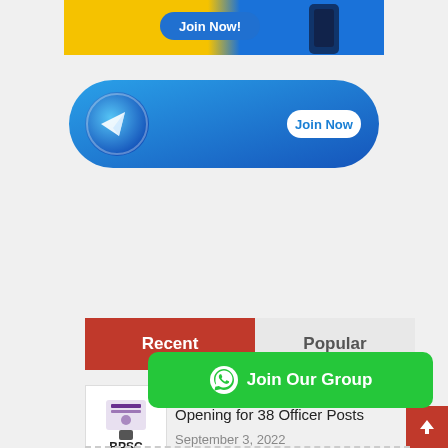[Figure (illustration): Top promotional banner with yellow and blue gradient background, partially visible 'Join Now' button]
[Figure (illustration): Telegram channel promotional banner with blue rounded rectangle, Telegram logo icon on left and 'Join Now' button on right]
Recent
Popular
[Figure (illustration): Green WhatsApp 'Join Our Group' button with WhatsApp icon]
[Figure (logo): BPSC (Bihar Public Service Commission) logo thumbnail]
BPSC Notification 2022 – Opening for 38 Officer Posts
September 3, 2022